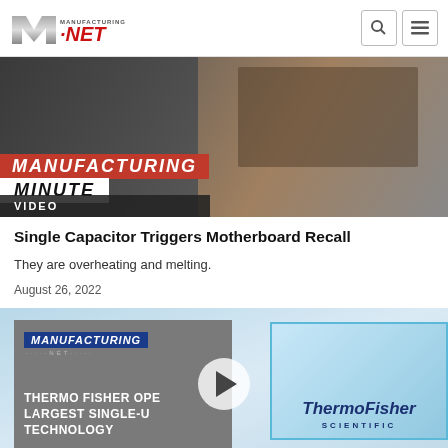Manufacturing.NET
[Figure (screenshot): Manufacturing Minute video thumbnail showing hands working on a circuit board, with red 'MANUFACTURING' and white 'MINUTE' overlay text. A VIDEO label appears at the bottom left.]
Single Capacitor Triggers Motherboard Recall
They are overheating and melting.
August 26, 2022
[Figure (screenshot): Second video thumbnail showing Manufacturing.NET and Thermo Fisher Scientific branding with text 'THERMO FISHER OPENS LARGEST SINGLE-USE TECHNOLOGY'. A play button overlay is visible in the center.]